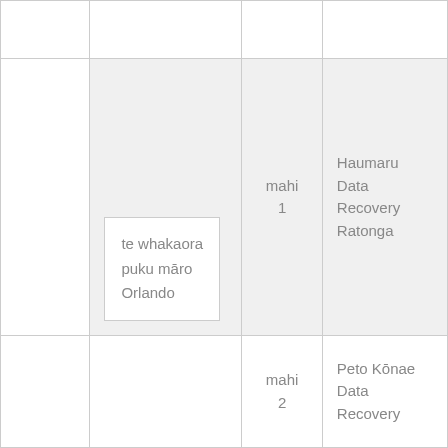|  |  |  |  |
|  | te whakaora puku māro Orlando | mahi 1 | Haumaru Data Recovery Ratonga |
|  |  | mahi 2 | Peto Kōnae Data Recovery |